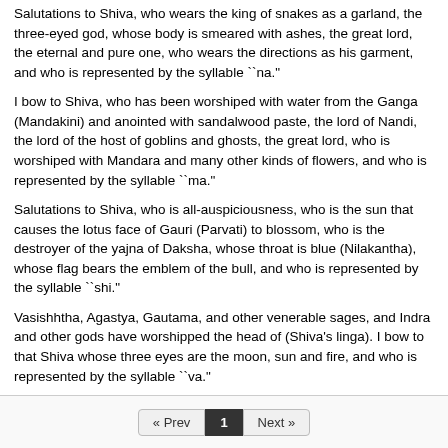Salutations to Shiva, who wears the king of snakes as a garland, the three-eyed god, whose body is smeared with ashes, the great lord, the eternal and pure one, who wears the directions as his garment, and who is represented by the syllable ``na."
I bow to Shiva, who has been worshiped with water from the Ganga (Mandakini) and anointed with sandalwood paste, the lord of Nandi, the lord of the host of goblins and ghosts, the great lord, who is worshiped with Mandara and many other kinds of flowers, and who is represented by the syllable ``ma."
Salutations to Shiva, who is all-auspiciousness, who is the sun that causes the lotus face of Gauri (Parvati) to blossom, who is the destroyer of the yajna of Daksha, whose throat is blue (Nilakantha), whose flag bears the emblem of the bull, and who is represented by the syllable ``shi."
Vasishhtha, Agastya, Gautama, and other venerable sages, and Indra and other gods have worshipped the head of (Shiva's linga). I bow to that Shiva whose three eyes are the moon, sun and fire, and who is represented by the syllable ``va."
salutations to Shiva, who bears the form of a Yaksha, who has matted hair on his head, who bears the Pinaka bow in his hand, the primeval lord, the brilliant god, who is digambara (naked), and who is represented by the syllable ``ya."
« Prev  1  Next »